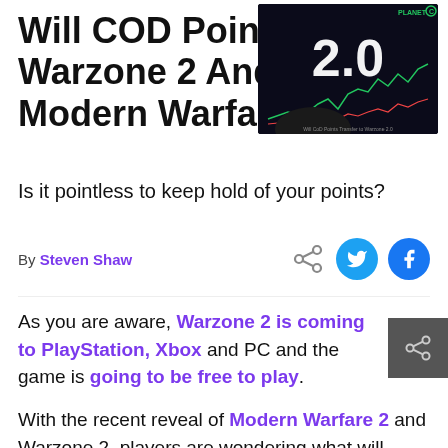Will COD Points Transfer To Warzone 2 And Can You Use In Modern Warfare 2?
[Figure (screenshot): Thumbnail showing a screen with '2.0' text and a stock chart, with Planet branding in the top right corner]
Is it pointless to keep hold of your points?
By Steven Shaw
As you are aware, Warzone 2 is coming to PlayStation, Xbox and PC and the game is going to be free to play.
With the recent reveal of Modern Warfare 2 and Warzone 2, players are wondering what will